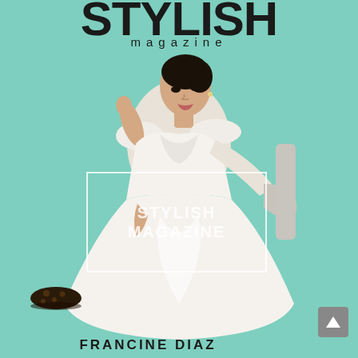STYLISH magazine
[Figure (photo): Magazine cover photo of Francine Diaz seated in a chair, wearing a white off-shoulder ball gown dress, posed against a teal/mint green background. A watermark box with STYLISH MAGAZINE text overlaid in white. A decorative shoe visible at bottom left. A grey scroll-to-top button at bottom right.]
FRANCINE DIAZ